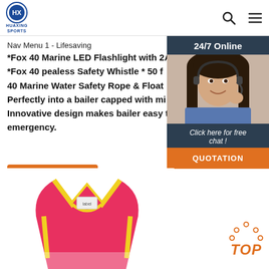HUAXING SPORTS
Nav Menu 1 - Lifesaving
*Fox 40 Marine LED Flashlight with 2AA Batteries *Fox 40 pealess Safety Whistle * 50 f... 40 Marine Water Safety Rope & Float... Perfectly into a bailer capped with mi... Innovative design makes bailer easy to... emergency.
Get Price
[Figure (photo): Woman with headset - 24/7 Online chat widget with QUOTATION button]
[Figure (photo): Red and yellow life vest/jacket shown from collar area]
TOP